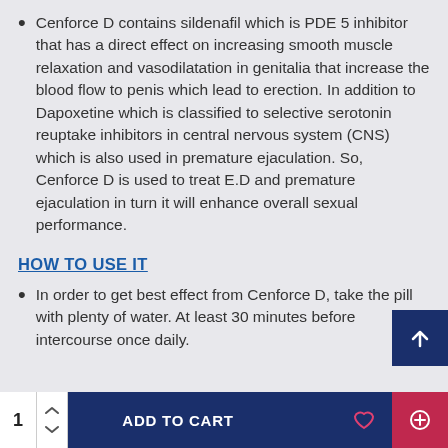Cenforce D contains sildenafil which is PDE 5 inhibitor that has a direct effect on increasing smooth muscle relaxation and vasodilatation in genitalia that increase the blood flow to penis which lead to erection. In addition to Dapoxetine which is classified to selective serotonin reuptake inhibitors in central nervous system (CNS) which is also used in premature ejaculation. So, Cenforce D is used to treat E.D and premature ejaculation in turn it will enhance overall sexual performance.
HOW TO USE IT
In order to get best effect from Cenforce D, take the pill with plenty of water. At least 30 minutes before intercourse once daily.